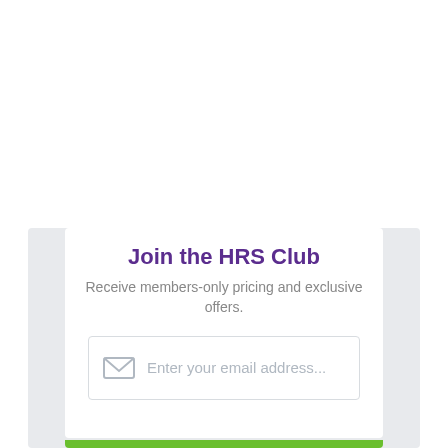Join the HRS Club
Receive members-only pricing and exclusive offers.
[Figure (screenshot): Email input field with envelope icon and placeholder text 'Enter your email address...' followed by a green submit button bar]